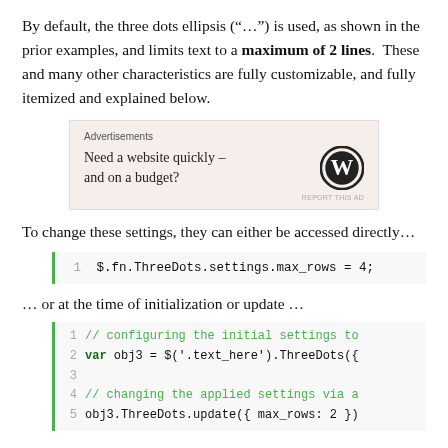By default, the three dots ellipsis (“…”) is used, as shown in the prior examples, and limits text to a maximum of 2 lines.  These and many other characteristics are fully customizable, and fully itemized and explained below.
[Figure (screenshot): Advertisement box with WordPress logo. Text: 'Need a website quickly – and on a budget?']
To change these settings, they can either be accessed directly…
$.fn.ThreeDots.settings.max_rows = 4;
… or at the time of initialization or update …
// configuring the initial settings to
var obj3 = $(\u2019.text_here\u2019).ThreeDots({

// changing the applied settings via a
obj3.ThreeDots.update({ max_rows: 2 })